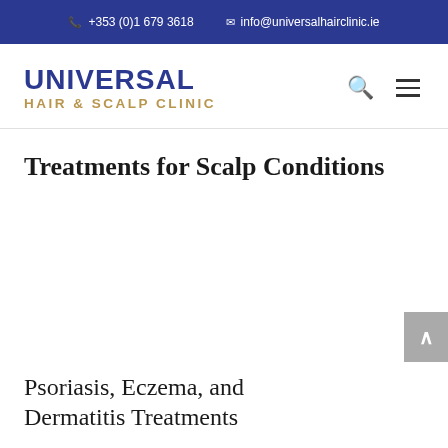+353 (0)1 679 3618   info@universalhairclinic.ie
[Figure (logo): Universal Hair & Scalp Clinic logo with navy blue UNIVERSAL text and gold HAIR & SCALP CLINIC subtext]
Treatments for Scalp Conditions
Psoriasis, Eczema, and Dermatitis Treatments